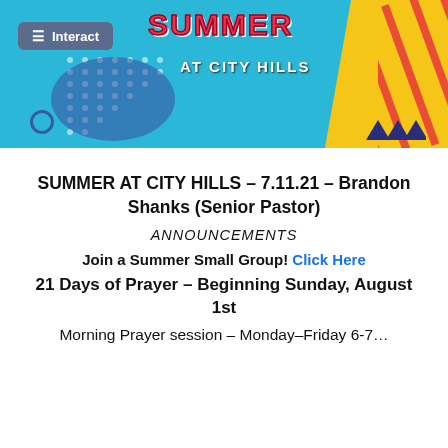[Figure (illustration): Summer at City Hills colorful banner with teal/cyan background, yellow section on right, decorative dots, red 'SUMMER' text with dotted style, 'AT CITY HILLS' subtitle in white, hamburger menu with 'Interact' label, small blue circle, red stripe decorations, and triangle shapes in dark blue.]
SUMMER AT CITY HILLS – 7.11.21 – Brandon Shanks (Senior Pastor)
ANNOUNCEMENTS
Join a Summer Small Group! Click Here
21 Days of Prayer – Beginning Sunday, August 1st
Morning Prayer session – Monday–Friday 6-7…